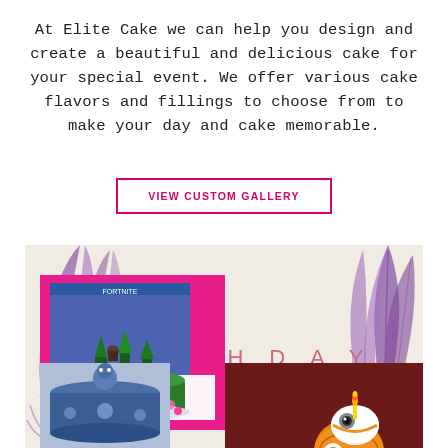At Elite Cake we can help you design and create a beautiful and delicious cake for your special event. We offer various cake flavors and fillings to choose from to make your day and cake memorable.
VIEW CUSTOM GALLERY
[Figure (photo): Birthday cake gallery section with decorative purple feathers/leaves on left and right, text 'BIRTHDAY' in pink spaced letters, a Fortnite themed cake on the left side, a Star Wars BB-8 themed black cake with stars and BB-8 figure candle on the right, and a partial blue cake at the bottom left.]